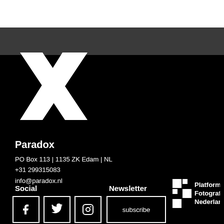[Figure (logo): White X logo (Paradox) on black background]
Paradox
PO Box 113 | 1135 ZK Edam | NL
+31 299315083
info@paradox.nl
Social
Newsletter
[Figure (logo): Platform Fotografie Nederland logo]
subscribe